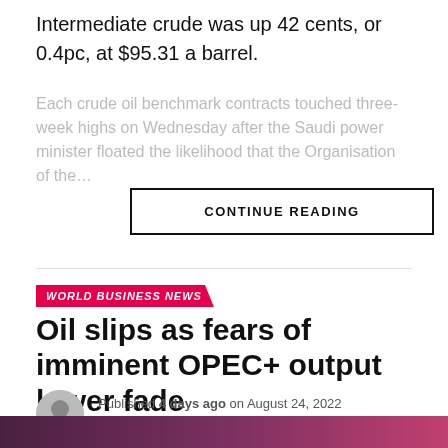Intermediate crude was up 42 cents, or 0.4pc, at $95.31 a barrel.
Each crude oil benchmark contracts touched three-week highs on Wednesday after the Saudi power minister floated the likelihood that the Organisation of the…
CONTINUE READING
WORLD BUSINESS NEWS
Oil slips as fears of imminent OPEC+ output lower fade
Published 4 days ago on August 24, 2022
By Pakistaneo.com